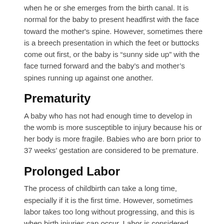when he or she emerges from the birth canal. It is normal for the baby to present headfirst with the face toward the mother's spine. However, sometimes there is a breech presentation in which the feet or buttocks come out first, or the baby is “sunny side up” with the face turned forward and the baby’s and mother’s spines running up against one another.
Prematurity
A baby who has not had enough time to develop in the womb is more susceptible to injury because his or her body is more fragile. Babies who are born prior to 37 weeks’ gestation are considered to be premature.
Prolonged Labor
The process of childbirth can take a long time, especially if it is the first time. However, sometimes labor takes too long without progressing, and this is when birth injuries can occur. Labor is considered